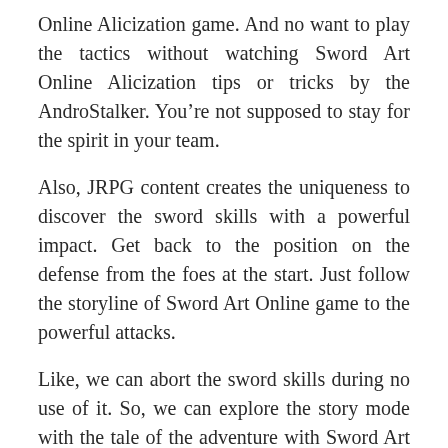Online Alicization game. And no want to play the tactics without watching Sword Art Online Alicization tips or tricks by the AndroStalker. You’re not supposed to stay for the spirit in your team.
Also, JRPG content creates the uniqueness to discover the sword skills with a powerful impact. Get back to the position on the defense from the foes at the start. Just follow the storyline of Sword Art Online game to the powerful attacks.
Like, we can abort the sword skills during no use of it. So, we can explore the story mode with the tale of the adventure with Sword Art Online. Need to work on the ultimate attack for your SAO teammates.
Premium Mod APK + OBB Data Sword Art